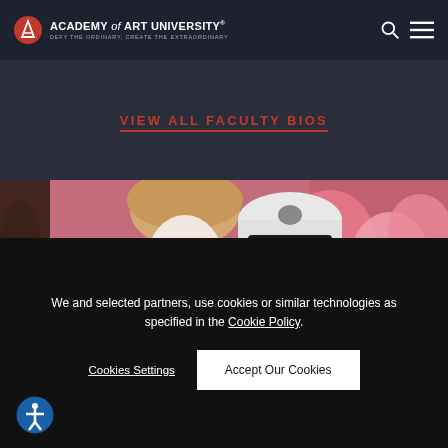Academy of Art University — DEFY THE ORDINARY, CREATE THE EXTRAORDINARY
VIEW ALL FACULTY BIOS
[Figure (photo): Two costumed figures: one wearing face paint/clown makeup with curly blonde wig, the other wearing a police helmet and aviator sunglasses, against a background of pink balloons.]
We and selected partners, use cookies or similar technologies as specified in the Cookie Policy.
Cookies Settings
Accept Our Cookies